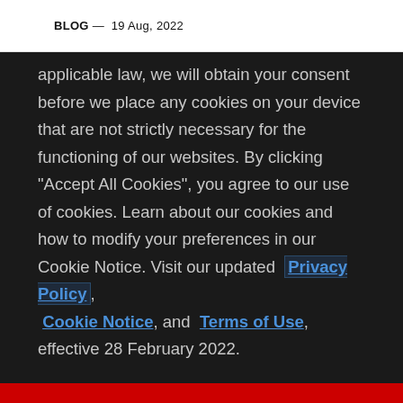BLOG — 19 Aug, 2022
applicable law, we will obtain your consent before we place any cookies on your device that are not strictly necessary for the functioning of our websites. By clicking "Accept All Cookies", you agree to our use of cookies. Learn about our cookies and how to modify your preferences in our Cookie Notice. Visit our updated Privacy Policy, Cookie Notice, and Terms of Use, effective 28 February 2022.
Cookie Settings